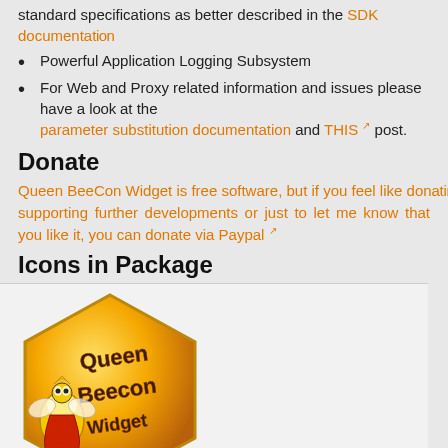standard specifications as better described in the SDK documentation
Powerful Application Logging Subsystem
For Web and Proxy related information and issues please have a look at the parameter substitution documentation and THIS post.
Donate
Queen BeeCon Widget is free software, but if you feel like donating for supporting further developments or just to let me know that you like it, you can donate via Paypal
Icons in Package
[Figure (illustration): Icons in Package showing Queen BeeCon Widget logo (large golden hexagon with bee mascot and text) and various smaller hexagonal icons including bee, skull, thumbs up, thumbs down, pointing finger, image not found, formula, sleeping bee, and a row of golden hexagons at the bottom]